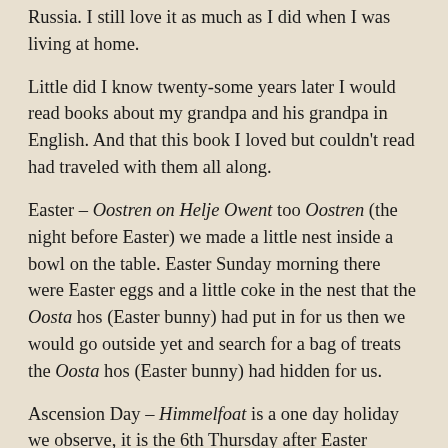Russia. I still love it as much as I did when I was living at home.
Little did I know twenty-some years later I would read books about my grandpa and his grandpa in English. And that this book I loved but couldn't read had traveled with them all along.
Easter – Oostren on Helje Owent too Oostren (the night before Easter) we made a little nest inside a bowl on the table. Easter Sunday morning there were Easter eggs and a little coke in the nest that the Oosta hos (Easter bunny) had put in for us then we would go outside yet and search for a bag of treats the Oosta hos (Easter bunny) had hidden for us.
Ascension Day – Himmelfoat is a one day holiday we observe, it is the 6th Thursday after Easter commemorating Jesus' return to haven.
Pentecost – Pinjsten this is when the Old Colony youth are baptized, the relation of the new to Christ, the church and...